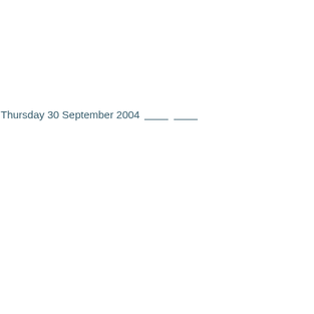Thursday 30 September 2004 ____ ____